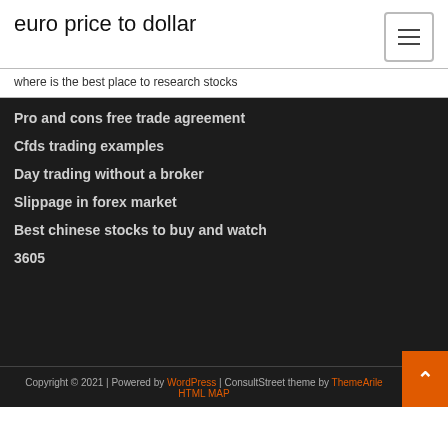euro price to dollar
where is the best place to research stocks
Pro and cons free trade agreement
Cfds trading examples
Day trading without a broker
Slippage in forex market
Best chinese stocks to buy and watch
3605
Copyright © 2021 | Powered by WordPress | ConsultStreet theme by ThemeArile HTML MAP